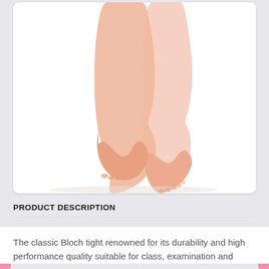[Figure (photo): Two bare feet and lower legs of a person on a white background, shown from approximately knee height down, posed on tiptoe, wearing no footwear — likely a product photo for ballet tights/hosiery.]
PRODUCT DESCRIPTION
The classic Bloch tight renowned for its durability and high performance quality suitable for class, examination and